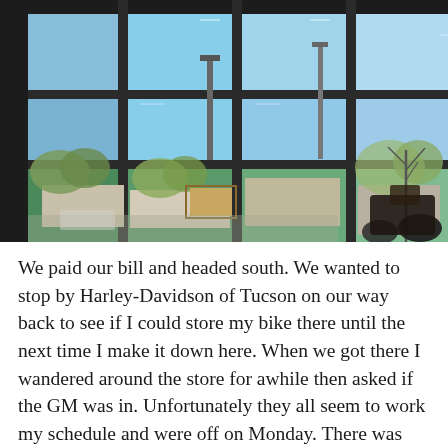[Figure (photo): View through large floor-to-ceiling glass windows of a Harley-Davidson dealership showroom looking out onto a sunny parking area and street with trees, street lights, and a building across the way. A motorcycle is partially visible in the lower right corner inside the dealership.]
We paid our bill and headed south. We wanted to stop by Harley-Davidson of Tucson on our way back to see if I could store my bike there until the next time I make it down here. When we got there I wandered around the store for awhile then asked if the GM was in. Unfortunately they all seem to work my schedule and were off on Monday. There was however someone to talk to and I talked to